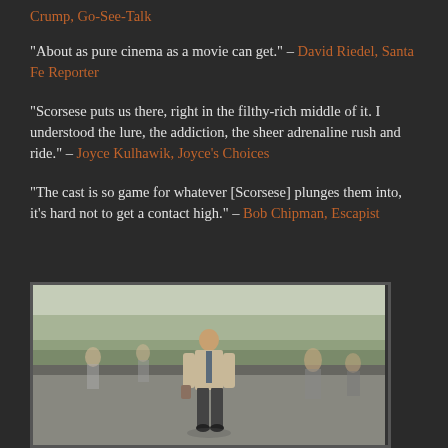Crump, Go-See-Talk
"About as pure cinema as a movie can get." – David Riedel, Santa Fe Reporter
"Scorsese puts us there, right in the filthy-rich middle of it. I understood the lure, the addiction, the sheer adrenaline rush and ride." – Joyce Kulhawik, Joyce's Choices
"The cast is so game for whatever [Scorsese] plunges them into, it's hard not to get a contact high." – Bob Chipman, Escapist
[Figure (photo): A man in a suit and tie walking on a busy street or plaza, shot from a distance with other pedestrians around him, outdoor daytime scene with blurred background]